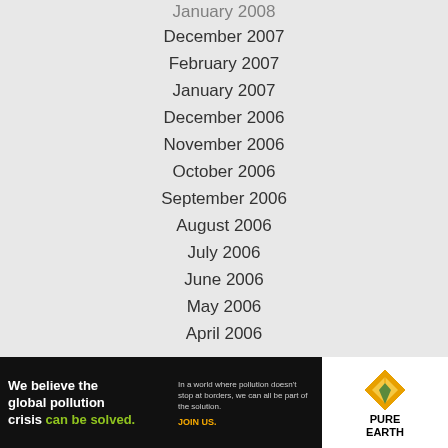January 2008
December 2007
February 2007
January 2007
December 2006
November 2006
October 2006
September 2006
August 2006
July 2006
June 2006
May 2006
April 2006
[Figure (infographic): Pure Earth advertisement banner: 'We believe the global pollution crisis can be solved. In a world where pollution doesn't stop at borders, we can all be part of the solution. JOIN US.' with Pure Earth logo.]